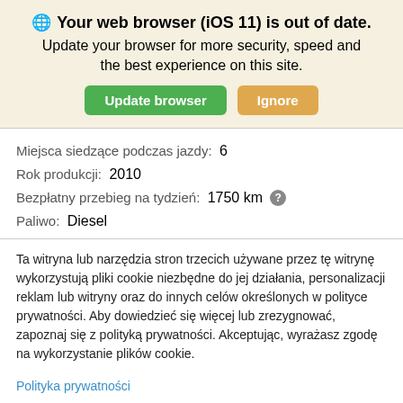🌐 Your web browser (iOS 11) is out of date. Update your browser for more security, speed and the best experience on this site.
Miejsca siedzące podczas jazdy: 6
Rok produkcji: 2010
Bezpłatny przebieg na tydzień: 1750 km ?
Paliwo: Diesel
Ta witryna lub narzędzia stron trzecich używane przez tę witrynę wykorzystują pliki cookie niezbędne do jej działania, personalizacji reklam lub witryny oraz do innych celów określonych w polityce prywatności. Aby dowiedzieć się więcej lub zrezygnować, zapoznaj się z polityką prywatności. Akceptując, wyrażasz zgodę na wykorzystanie plików cookie.
Polityka prywatności
Zarządzaj moimi plikami cookie
Zaakceptuj wszystko